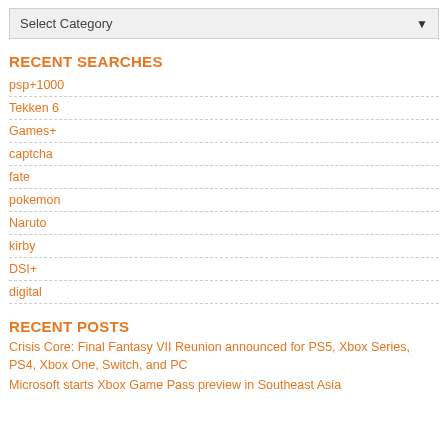[Figure (other): Dropdown select box with label 'Select Category' and a down arrow]
RECENT SEARCHES
psp+1000
Tekken 6
Games+
captcha
fate
pokemon
Naruto
kirby
DSI+
digital
RECENT POSTS
Crisis Core: Final Fantasy VII Reunion announced for PS5, Xbox Series, PS4, Xbox One, Switch, and PC
Microsoft starts Xbox Game Pass preview in Southeast Asia